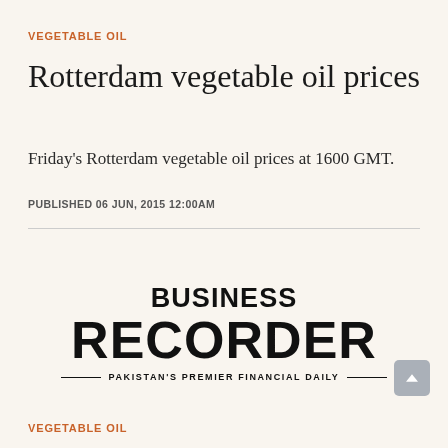VEGETABLE OIL
Rotterdam vegetable oil prices
Friday's Rotterdam vegetable oil prices at 1600 GMT.
PUBLISHED 06 JUN, 2015 12:00AM
[Figure (logo): Business Recorder — Pakistan's Premier Financial Daily logo]
VEGETABLE OIL